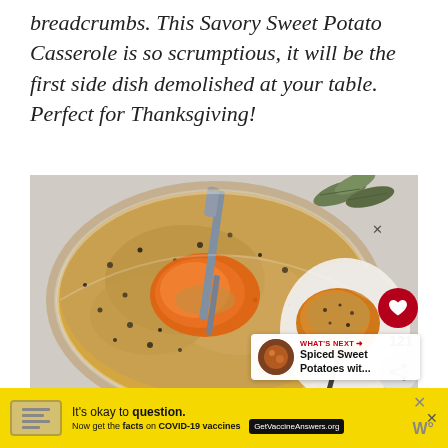breadcrumbs. This Savory Sweet Potato Casserole is so scrumptious, it will be the first side dish demolished at your table. Perfect for Thanksgiving!
[Figure (photo): Overhead view of a glass baking dish containing sweet potato casserole with breadcrumb topping, a fork/spoon inserted, and a serving on a plate beside it with sage leaves in background]
121
WHAT'S NEXT → Spiced Sweet Potatoes wit...
It's okay to question. Now get the facts on COVID-19 vaccines GetVaccineAnswers.org